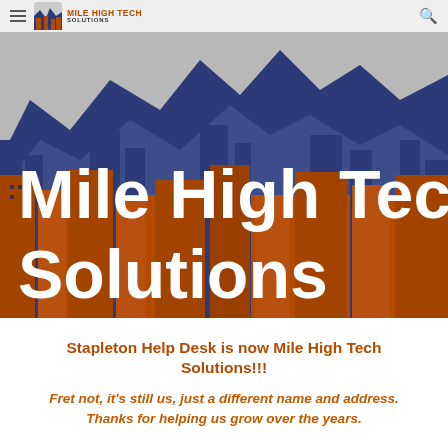Mile High Tech Solutions — navigation bar with hamburger menu and search icon
[Figure (illustration): Illustrated cityscape hero banner showing Denver city skyline silhouette in dark orange/rust against dark blue mountain backdrop and grey sky. Large white bold text reads 'Mile High Tech Solutions' overlaid on the lower portion of the image.]
Mile High Tech Solutions
Stapleton Help Desk is now Mile High Tech Solutions!!!
Fret not, it's still us, just a different name and address. Thanks for helping us grow over the years.